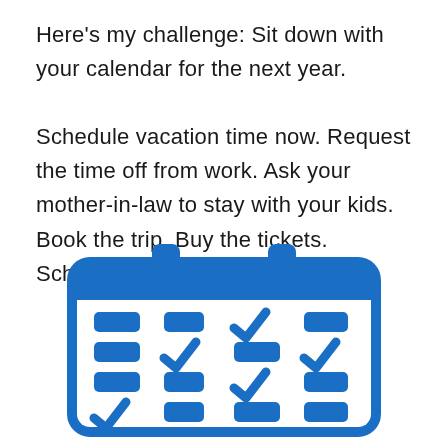Here's my challenge: Sit down with your calendar for the next year.

Schedule vacation time now. Request the time off from work. Ask your mother-in-law to stay with your kids. Book the trip. Buy the tickets. Schedule the dog-sitter.
[Figure (illustration): A blue calendar icon with a white background, showing a calendar page with rounded corners and two loop rings at the top. Inside the calendar are 4 columns and 4 rows of items: blue rounded rectangles (representing calendar slots) and blue checkmarks, arranged in a grid pattern indicating scheduled and completed items.]